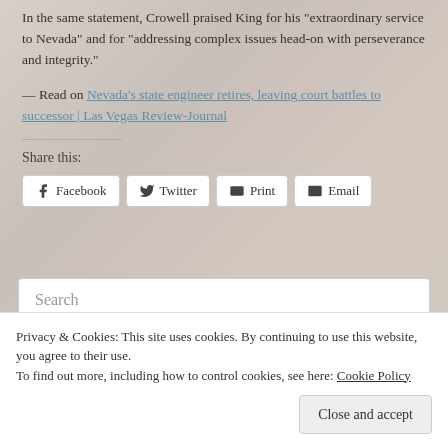In the same statement, Crowell praised King for his “extraordinary service to Nevada” and for “addressing complex issues head-on with perseverance and integrity.”
— Read on Nevada’s state engineer retires, leaving court battles to successor | Las Vegas Review-Journal
Share this:
Facebook  Twitter  Print  Email
Search
Privacy & Cookies: This site uses cookies. By continuing to use this website, you agree to their use.
To find out more, including how to control cookies, see here: Cookie Policy
Close and accept